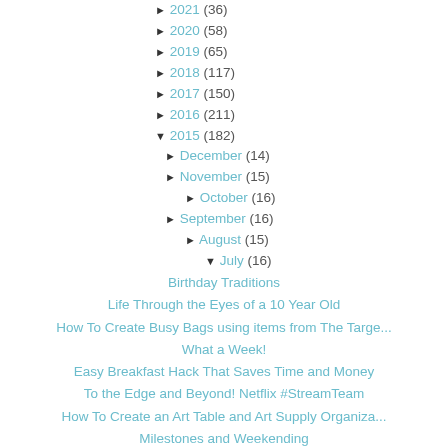► 2021 (36)
► 2020 (58)
► 2019 (65)
► 2018 (117)
► 2017 (150)
► 2016 (211)
▼ 2015 (182)
► December (14)
► November (15)
► October (16)
► September (16)
► August (15)
▼ July (16)
Birthday Traditions
Life Through the Eyes of a 10 Year Old
How To Create Busy Bags using items from The Targe...
What a Week!
Easy Breakfast Hack That Saves Time and Money
To the Edge and Beyond! Netflix #StreamTeam
How To Create an Art Table and Art Supply Organiza...
Milestones and Weekending